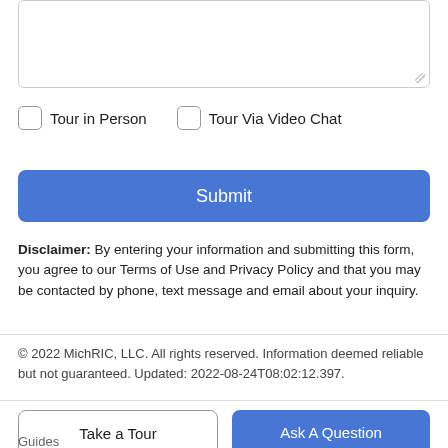[Figure (screenshot): Textarea input box with resize handle in bottom-right corner]
Tour in Person
Tour Via Video Chat
Submit
Disclaimer: By entering your information and submitting this form, you agree to our Terms of Use and Privacy Policy and that you may be contacted by phone, text message and email about your inquiry.
© 2022 MichRIC, LLC. All rights reserved. Information deemed reliable but not guaranteed. Updated: 2022-08-24T08:02:12.397.
Take a Tour
Ask A Question
Guides